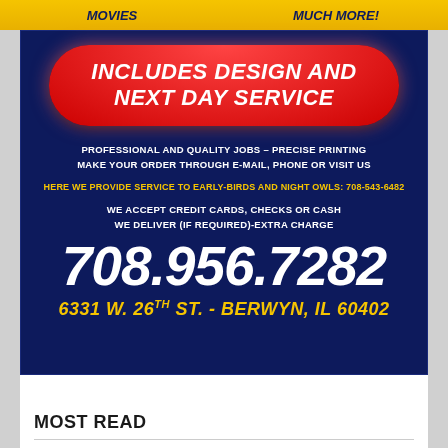[Figure (infographic): Top yellow banner strip with partially visible text for a printing company advertisement]
[Figure (infographic): Dark navy blue advertisement block for Precise Printing with red pill-shaped button saying INCLUDES DESIGN AND NEXT DAY SERVICE, white text about professional and quality jobs, yellow text about early-birds and night owls service at 708-543-6482, acceptance of credit cards checks or cash, delivery info, large white phone number 708.956.7282, and yellow address 6331 W. 26TH ST. - BERWYN, IL 60402]
MOST READ